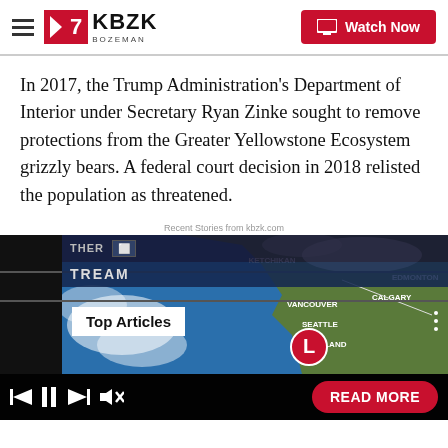KBZK BOZEMAN — Watch Now
In 2017, the Trump Administration's Department of Interior under Secretary Ryan Zinke sought to remove protections from the Greater Yellowstone Ecosystem grizzly bears. A federal court decision in 2018 relisted the population as threatened.
Recent Stories from kbzk.com
[Figure (screenshot): Embedded video player showing a weather map of the Pacific Northwest coast with locations KETCHIKAN, EDMONTON, CALGARY, VANCOUVER, SEATTLE, PORTLAND labeled. A red 'L' circle indicates a low pressure system. Controls bar at bottom with playback buttons and READ MORE button. 'Top Articles' badge overlaid on video. WEATHER STREAM label visible.]